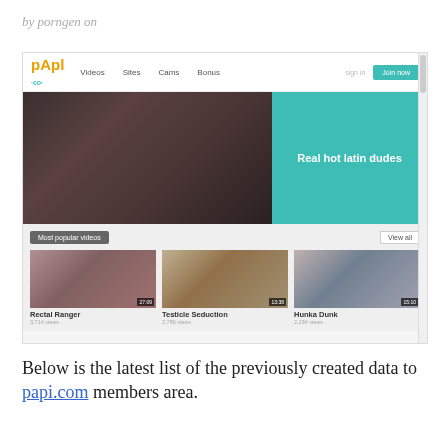by porngen on
[Figure (screenshot): Screenshot of papi.com website showing navigation bar with Videos, Sites, Cams, Bonus links and Join now button, a banner image with 'Real hot latin dudes' text on teal background, and a Most popular videos section with three video thumbnails: Rectal Ranger (3,714 views), Testicle Seduction (2,786 views), Hunka Dunk (2,284 views)]
Below is the latest list of the previously created data to papi.com members area.